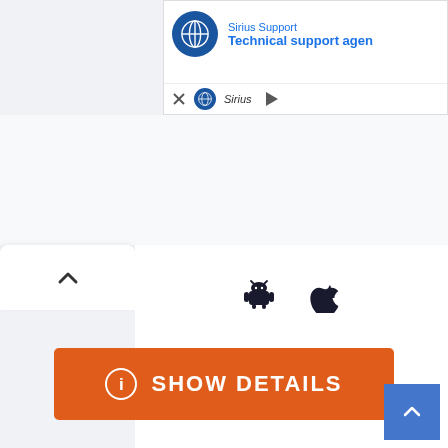[Figure (screenshot): Ad banner showing Sirius Support with globe icon, text 'Sirius Support' and 'Technical support agen...' in blue, with close X and play button controls at bottom]
[Figure (screenshot): White tab with up-chevron arrow at left side of content card]
[Figure (screenshot): Android robot icon and Apple logo icon side by side on white background]
[Figure (screenshot): Orange 'SHOW DETAILS' button with info circle icon on white card background]
ADVERTISEMENT
[Figure (screenshot): Blue back-to-top button with up chevron arrow in bottom right corner]